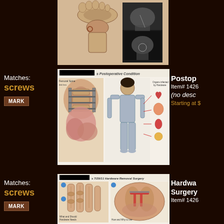[Figure (illustration): Medical illustration showing ankle/foot anatomy and X-rays]
Matches:
screws
MARK
[Figure (illustration): Postoperative condition medical illustration showing spinal hardware and human body diagram with organs affected by hardware]
Postop
Item# 1426
(no desc
Starting at $
Matches:
screws
MARK
[Figure (illustration): Hardware Removal Surgery 7/29/11 medical illustration showing hand/finger bones and hardware removal procedure]
Hardware Removal Surgery
Item# 1426